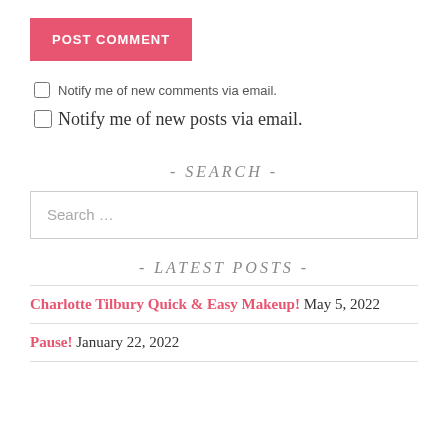POST COMMENT
Notify me of new comments via email.
Notify me of new posts via email.
- SEARCH -
Search …
- LATEST POSTS -
Charlotte Tilbury Quick & Easy Makeup! May 5, 2022
Pause! January 22, 2022